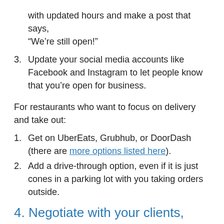with updated hours and make a post that says, “We’re still open!”
3. Update your social media accounts like Facebook and Instagram to let people know that you’re open for business.
For restaurants who want to focus on delivery and take out:
1. Get on UberEats, Grubhub, or DoorDash (there are more options listed here).
2. Add a drive-through option, even if it is just cones in a parking lot with you taking orders outside.
4. Negotiate with your clients, suppliers, and vendors.